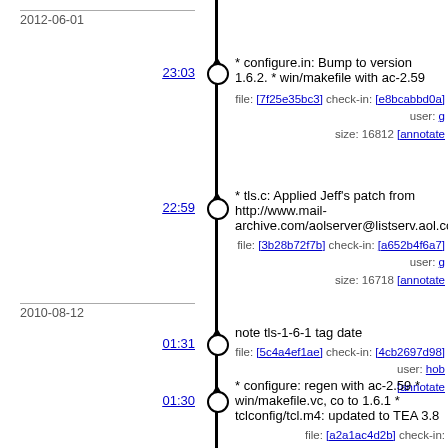2012-06-01
23:03
* configure.in: Bump to version 1.6.2. * win/makefile with ac-2.59
file: [7f25e35bc3] check-in: [e8bcabbd0a] user: g size: 16812 [annotate
22:59
* tls.c: Applied Jeff's patch from http://www.mail-archive.com/aolserver@listserv.aol.com/msg12356.
file: [3b28b72f7b] check-in: [a652b4f6a7] user: g size: 16718 [annotate
2010-08-12
01:31
note tls-1-6-1 tag date
file: [5c4a4ef1ae] check-in: [4cb2697d98] user: hob [annotate
01:30
* configure: regen with ac-2.59 * win/makefile.vc, co to 1.6.1 * tclconfig/tcl.m4: updated to TEA 3.8
file: [a2a1ac4d2b] check-in: [05b7445366] user: hob [annotate
2010-08-11
19:50
* tls.c (StatusObjCmd): memleak: free peer if loaded